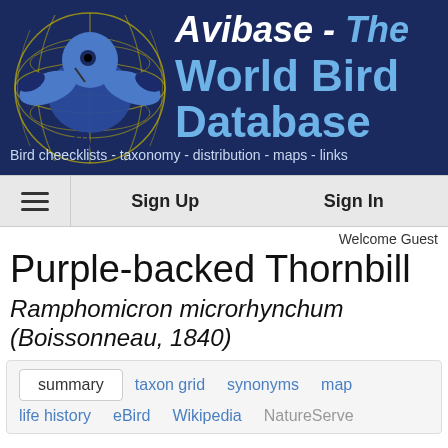[Figure (logo): Avibase - The World Bird Database logo with globe and bird silhouette on dark navy background]
Bird checklists - taxonomy - distribution - maps - links
Sign Up   Sign In
Welcome Guest
Purple-backed Thornbill
Ramphomicron microrhynchum (Boissonneau, 1840)
summary   taxon grid   synonyms   map   life history   eBird   Wikipedia   NatureServe